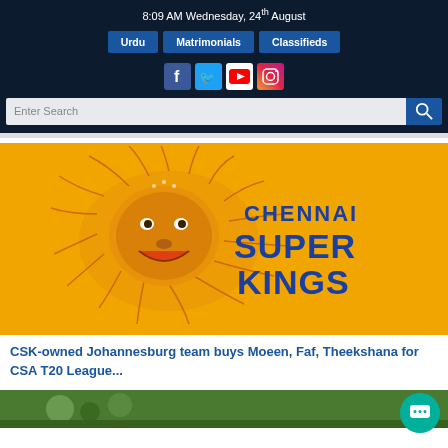8:09 AM Wednesday, 24th August
Urdu | Matrimonials | Classifieds
[Figure (screenshot): Social media icons: Facebook, Twitter, YouTube, Instagram]
Enter Search
[Figure (logo): Chennai Super Kings logo - yellow background with lion head and text CHENNAI SUPER KINGS]
CSK-owned Johannesburg team buys Moeen, Faf, Theekshana for CSA T20 League...
[Figure (photo): Second article thumbnail - green/outdoor background, partial view]